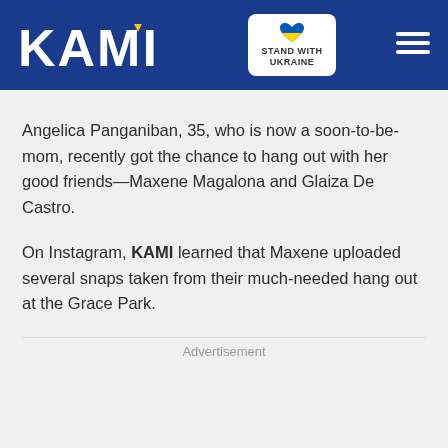KAMI — STAND WITH UKRAINE
Angelica Panganiban, 35, who is now a soon-to-be-mom, recently got the chance to hang out with her good friends—Maxene Magalona and Glaiza De Castro.
On Instagram, KAMI learned that Maxene uploaded several snaps taken from their much-needed hang out at the Grace Park.
Advertisement